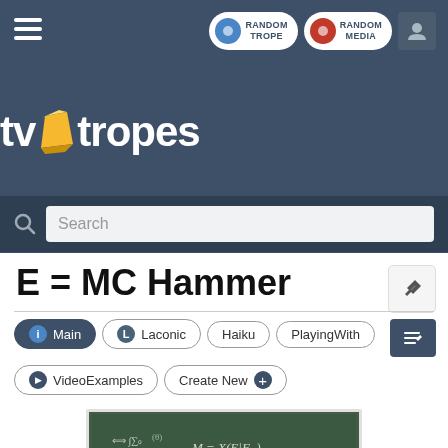TV Tropes navigation bar with hamburger menu, Random Trope, Random Media buttons, and user icon
[Figure (logo): TV Tropes logo with yellow diamond gem icon and white bold text 'tvtropes']
Search
E = MC Hammer
Main | Laconic | Haiku | PlayingWith | VideoExamples | Create New
[Figure (photo): A green chalkboard covered in mathematical equations and formulas written in chalk]